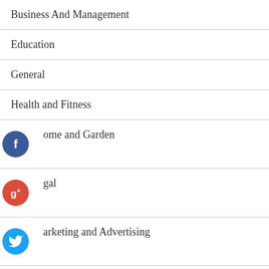Business And Management
Education
General
Health and Fitness
Home and Garden
Legal
Marketing and Advertising
Pets
Technology and Gadgets